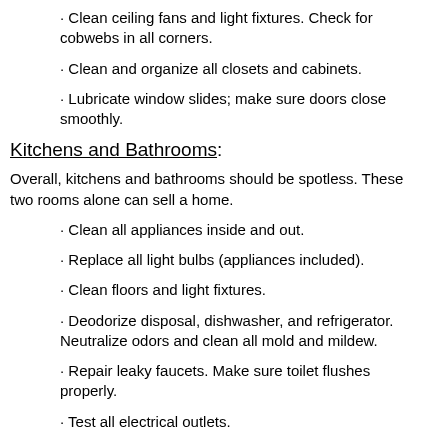· Clean ceiling fans and light fixtures. Check for cobwebs in all corners.
· Clean and organize all closets and cabinets.
· Lubricate window slides; make sure doors close smoothly.
Kitchens and Bathrooms:
Overall, kitchens and bathrooms should be spotless. These two rooms alone can sell a home.
· Clean all appliances inside and out.
· Replace all light bulbs (appliances included).
· Clean floors and light fixtures.
· Deodorize disposal, dishwasher, and refrigerator. Neutralize odors and clean all mold and mildew.
· Repair leaky faucets. Make sure toilet flushes properly.
· Test all electrical outlets.